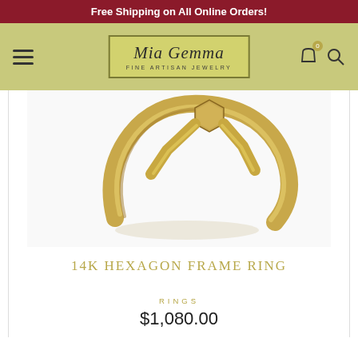Free Shipping on All Online Orders!
[Figure (logo): Mia Gemma Fine Artisan Jewelry logo in olive/gold bordered box]
[Figure (photo): Close-up photo of a 14K gold hexagon frame ring on white background, showing the hexagonal top detail and curved gold band]
14K HEXAGON FRAME RING
RINGS
$1,080.00